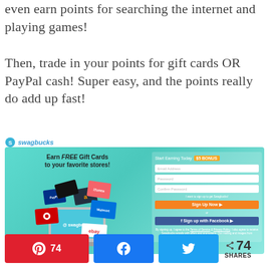even earn points for searching the internet and playing games!
Then, trade in your points for gift cards OR PayPal cash! Super easy, and the points really do add up fast!
[Figure (screenshot): Swagbucks advertisement banner showing gift cards and a laptop with the Swagbucks logo. On the right side is a sign-up form with email, password, confirm password fields, a Sign Up Now button, and a Sign up with Facebook button. Text reads 'Earn FREE Gift Cards to your favorite stores!' with a '$5 BONUS' tag.]
[Figure (infographic): Social share bar with Pinterest button showing 74 shares, Facebook share button, Twitter share button, and a total share count of 74 SHARES.]